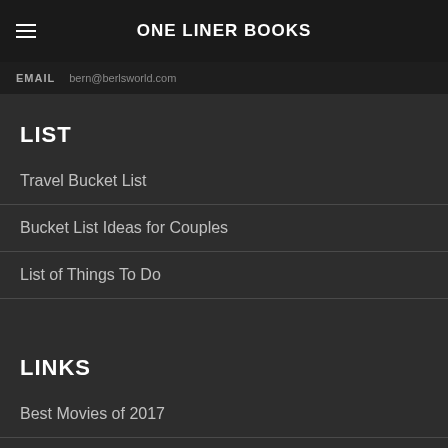ONE LINER BOOKS
EMAIL  bern@berlsworld.com
LIST
Travel Bucket List
Bucket List Ideas for Couples
List of Things To Do
LINKS
Best Movies of 2017
Instagram Captions for Nature